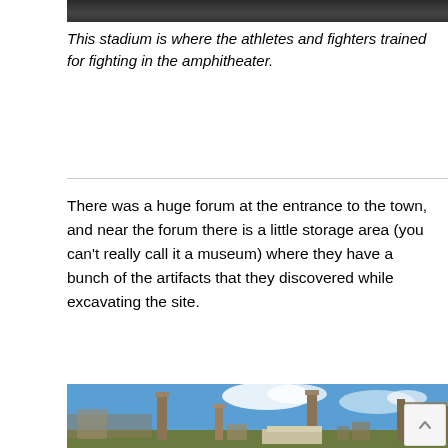[Figure (photo): Top portion of a black and white photograph showing what appears to be a stadium or ancient structure.]
This stadium is where the athletes and fighters trained for fighting in the amphitheater.
There was a huge forum at the entrance to the town, and near the forum there is a little storage area (you can't really call it a museum) where they have a bunch of the artifacts that they discovered while excavating the site.
[Figure (photo): Photograph of ancient Roman ruins at Pompeii showing tall stone columns, ruined walls, rubble, and a blue sky with clouds.]